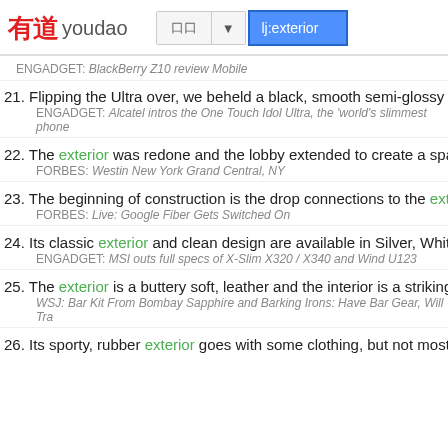[Figure (screenshot): Youdao dictionary app header with logo, search bar showing language selector and 'lj:exterior' query]
ENGADGET: BlackBerry Z10 review Mobile
21. Flipping the Ultra over, we beheld a black, smooth semi-glossy exterior [truncated]
ENGADGET: Alcatel intros the One Touch Idol Ultra, the 'world's slimmest phone [truncated]
22. The exterior was redone and the lobby extended to create a space fo [truncated]
FORBES: Westin New York Grand Central, NY
23. The beginning of construction is the drop connections to the exterior o [truncated]
FORBES: Live: Google Fiber Gets Switched On
24. Its classic exterior and clean design are available in Silver, White and [truncated]
ENGADGET: MSI outs full specs of X-Slim X320 / X340 and Wind U123
25. The exterior is a buttery soft, leather and the interior is a striking sapp [truncated]
WSJ: Bar Kit From Bombay Sapphire and Barking Irons: Have Bar Gear, Will Tra [truncated]
26. Its sporty, rubber exterior goes with some clothing, but not most of my [truncated]